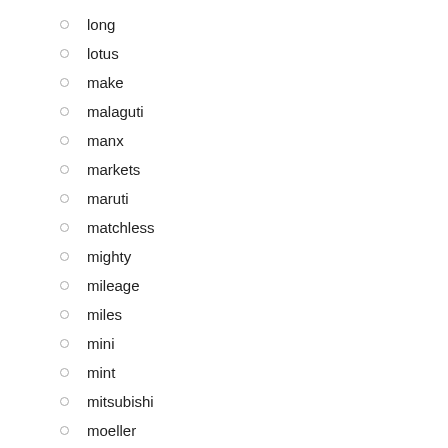long
lotus
make
malaguti
manx
markets
maruti
matchless
mighty
mileage
miles
mini
mint
mitsubishi
moeller
mojave